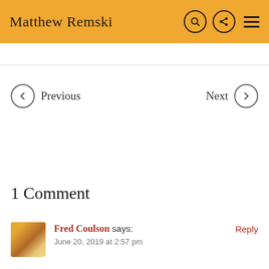Matthew Remski
Previous  Next
1 Comment
Fred Coulson says:  Reply
June 20, 2019 at 2:57 pm